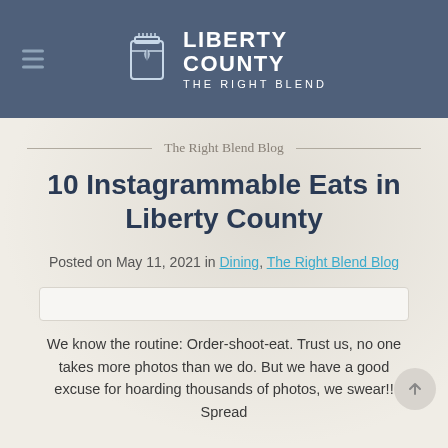Liberty County — The Right Blend
The Right Blend Blog
10 Instagrammable Eats in Liberty County
Posted on May 11, 2021 in Dining, The Right Blend Blog
We know the routine: Order-shoot-eat. Trust us, no one takes more photos than we do. But we have a good excuse for hoarding thousands of photos, we swear!! Spread